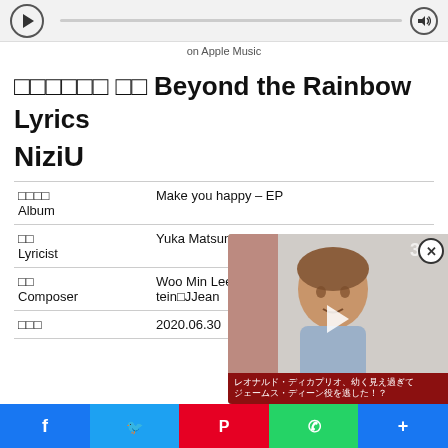[Figure (screenshot): Apple Music player bar with play button, progress bar, volume button, and 'on Apple Music' label]
□□□□□□ □□ Beyond the Rainbow Lyrics
NiziU
| □□□□ / Album | Make you happy – EP |
| □□ / Lyricist | Yuka Matsumoto |
| □□ / Composer | Woo Min Lee"co tein□JJean |
[Figure (screenshot): Video overlay popup showing a young man, with red caption text in Japanese and a close button]
[Figure (screenshot): Social share bar with Facebook, Twitter, Pinterest, WhatsApp, and more buttons]